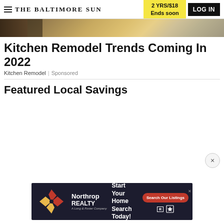THE BALTIMORE SUN | 2 YRS/$18 Ends soon | LOG IN
[Figure (photo): Narrow horizontal hero image strip showing a kitchen scene]
Kitchen Remodel Trends Coming In 2022
Kitchen Remodel | Sponsored
Featured Local Savings
ADVERTISEMENT
[Figure (other): Northrop Realty advertisement banner: Start Your Home Search Today! Search Our Listings button, realtor and equal housing icons]